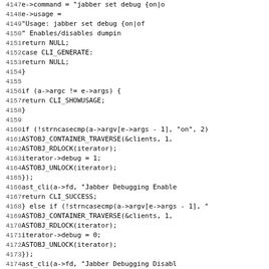[Figure (screenshot): Source code listing in monospace font showing C code lines 4147-4179 with line numbers on the left. The code includes CLI command handling, ASTOBJ_CONTAINER_TRAVERSE macros, iterator debug flag setting, and CLI_SHOWUSAGE/CLI_SUCCESS returns.]